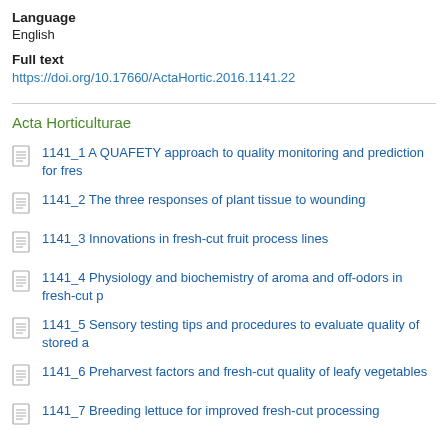Language
English
Full text
https://doi.org/10.17660/ActaHortic.2016.1141.22
Acta Horticulturae
1141_1 A QUAFETY approach to quality monitoring and prediction for fres
1141_2 The three responses of plant tissue to wounding
1141_3 Innovations in fresh-cut fruit process lines
1141_4 Physiology and biochemistry of aroma and off-odors in fresh-cut p
1141_5 Sensory testing tips and procedures to evaluate quality of stored a
1141_6 Preharvest factors and fresh-cut quality of leafy vegetables
1141_7 Breeding lettuce for improved fresh-cut processing